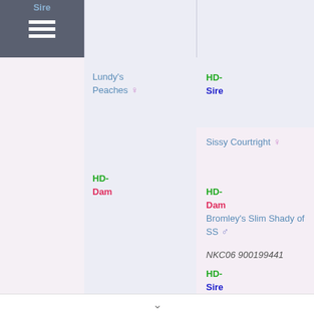Sire
Lundy's Peaches ♀
HD- Sire
HD- Dam
Sissy Courtright ♀
HD- Dam
Bromley's Slim Shady of SS ♂
NKC06 900199441
HD- Sire